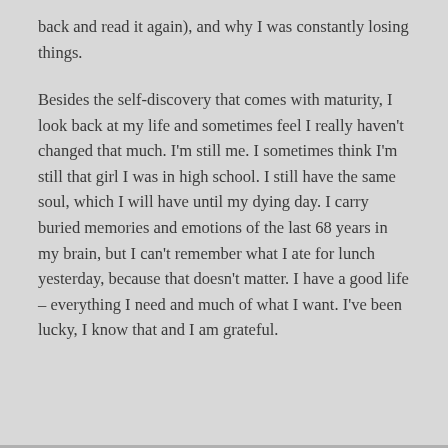back and read it again), and why I was constantly losing things.
Besides the self-discovery that comes with maturity, I look back at my life and sometimes feel I really haven't changed that much. I'm still me. I sometimes think I'm still that girl I was in high school. I still have the same soul, which I will have until my dying day. I carry buried memories and emotions of the last 68 years in my brain, but I can't remember what I ate for lunch yesterday, because that doesn't matter. I have a good life – everything I need and much of what I want. I've been lucky, I know that and I am grateful.